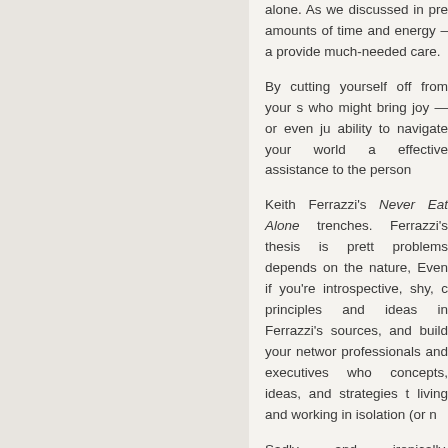alone. As we discussed in pre amounts of time and energy – a provide much-needed care.
By cutting yourself off from your s who might bring joy — or even ju ability to navigate your world a effective assistance to the person
Keith Ferrazzi's Never Eat Alone trenches. Ferrazzi's thesis is prett problems depends on the nature, Even if you're introspective, shy, c principles and ideas in Ferrazzi's sources, and build your networ professionals and executives who concepts, ideas, and strategies t living and working in isolation (or n
Sadly and ironically, caregivers wo relationships. After all, the work s companionship.
You need not struggle on your o